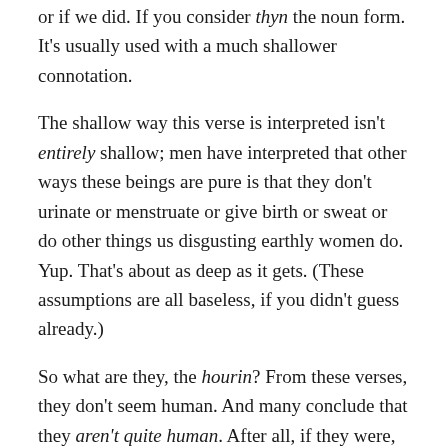or if we did. If you consider thyn the noun form. It's usually used with a much shallower connotation.
The shallow way this verse is interpreted isn't entirely shallow; men have interpreted that other ways these beings are pure is that they don't urinate or menstruate or give birth or sweat or do other things us disgusting earthly women do. Yup. That's about as deep as it gets. (These assumptions are all baseless, if you didn't guess already.)
So what are they, the hourin? From these verses, they don't seem human. And many conclude that they aren't quite human. After all, if they were, they would be here on Earth with us. (Could there be reasons certain humans are excused of living this life first?) However